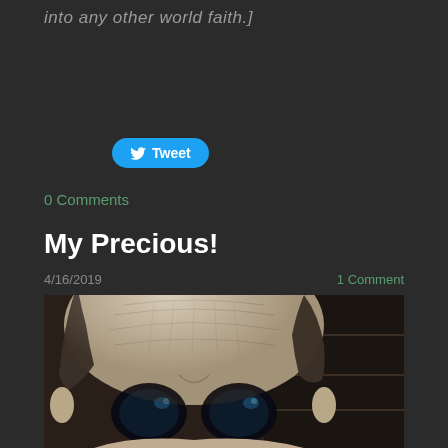into any other world faith.]
Tweet
0 Comments
My Precious!
4/16/2019
1 Comment
[Figure (photo): Close-up photo of Gollum (Lord of the Rings character) showing the top of his large pale bald head and large dark eyes, with dark blurry background]